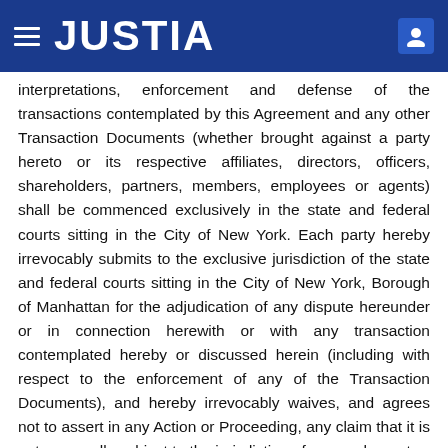JUSTIA
interpretations, enforcement and defense of the transactions contemplated by this Agreement and any other Transaction Documents (whether brought against a party hereto or its respective affiliates, directors, officers, shareholders, partners, members, employees or agents) shall be commenced exclusively in the state and federal courts sitting in the City of New York. Each party hereby irrevocably submits to the exclusive jurisdiction of the state and federal courts sitting in the City of New York, Borough of Manhattan for the adjudication of any dispute hereunder or in connection herewith or with any transaction contemplated hereby or discussed herein (including with respect to the enforcement of any of the Transaction Documents), and hereby irrevocably waives, and agrees not to assert in any Action or Proceeding, any claim that it is not personally subject to the jurisdiction of any such court,